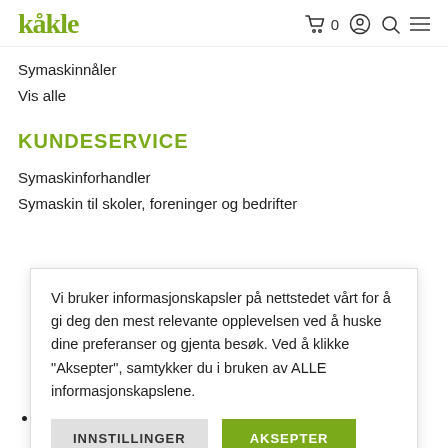Kåkle — navigation header with cart icon (0), account icon, search icon, menu icon
Symaskinnåler
Vis alle
KUNDESERVICE
Symaskinforhandler
Symaskin til skoler, foreninger og bedrifter
Vi bruker informasjonskapsler på nettstedet vårt for å gi deg den mest relevante opplevelsen ved å huske dine preferanser og gjenta besøk. Ved å klikke "Aksepter", samtykker du i bruken av ALLE informasjonskapslene.
INNSTILLINGER | AKSEPTER
Bævergrendveien 240, 3614 Kongsberg